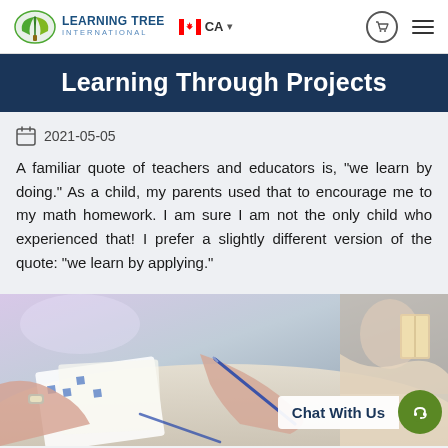Learning Tree International — CA navigation bar
Learning Through Projects
2021-05-05
A familiar quote of teachers and educators is, "we learn by doing." As a child, my parents used that to encourage me to my math homework. I am sure I am not the only child who experienced that! I prefer a slightly different version of the quote: "we learn by applying."
[Figure (photo): People working together on project documents on a table, pointing at papers with pens. A 'Chat With Us' overlay button with a green headset icon appears in the bottom right.]